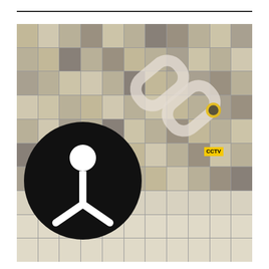[Figure (photo): A collage/grid of CCTV surveillance camera footage images showing pedestrians in public spaces, overlaid with a large white chain-link graphic in the upper right and a black peace symbol (modified as surveillance/person icon) in the lower left. A small yellow 'CCTV' badge appears in the middle-right area. The bottom rows of the grid show CCTV camera hardware images against light backgrounds.]